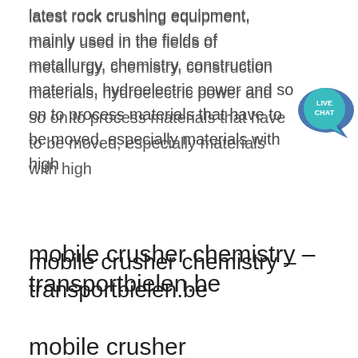latest rock crushing equipment, mainly used in the fields of metallurgy, chemistry, construction materials, hydroelectric power and so on to process materials that have to be moved, especially materials with high
[Figure (other): Live Chat button/badge - teal speech bubble with 'LIVE CHAT' text in white]
mobile crusher chemistry - transportbielen.be
It is composed of primary crushing and screening station, secondary crushing and screening station, belt conveyor, etc. Every crushing station is an independent working unit and they can respectively assume their different responsibilities. Belt conveyer is responsible for material delivery.
mobile crusher